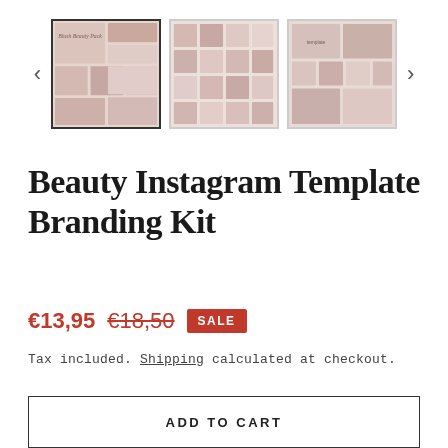[Figure (screenshot): Product image gallery showing three thumbnail images of a Beauty Instagram Template Branding Kit with left and right navigation arrows. The first thumbnail is selected (bordered). Images show pink/blush toned Instagram template layouts.]
Beauty Instagram Template Branding Kit
€13,95  €18,50  SALE
Tax included. Shipping calculated at checkout.
ADD TO CART